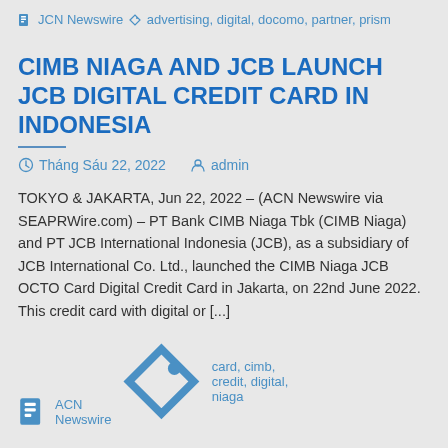JCN Newswire
advertising, digital, docomo, partner, prism
CIMB NIAGA AND JCB LAUNCH JCB DIGITAL CREDIT CARD IN INDONESIA
Tháng Sáu 22, 2022   admin
TOKYO & JAKARTA, Jun 22, 2022 – (ACN Newswire via SEAPRWire.com) – PT Bank CIMB Niaga Tbk (CIMB Niaga) and PT JCB International Indonesia (JCB), as a subsidiary of JCB International Co. Ltd., launched the CIMB Niaga JCB OCTO Card Digital Credit Card in Jakarta, on 22nd June 2022. This credit card with digital or [...]
ACN Newswire
card, cimb, credit, digital, niaga